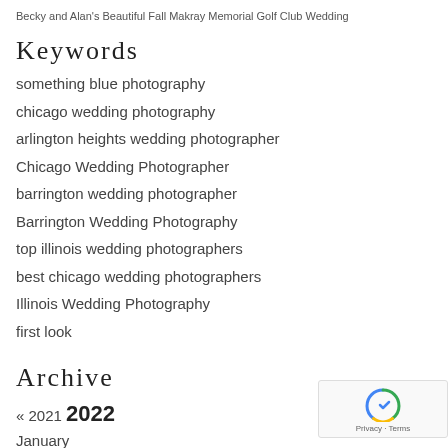Becky and Alan's Beautiful Fall Makray Memorial Golf Club Wedding
Keywords
something blue photography
chicago wedding photography
arlington heights wedding photographer
Chicago Wedding Photographer
barrington wedding photographer
Barrington Wedding Photography
top illinois wedding photographers
best chicago wedding photographers
Illinois Wedding Photography
first look
Archive
« 2021 2022
January
February
March